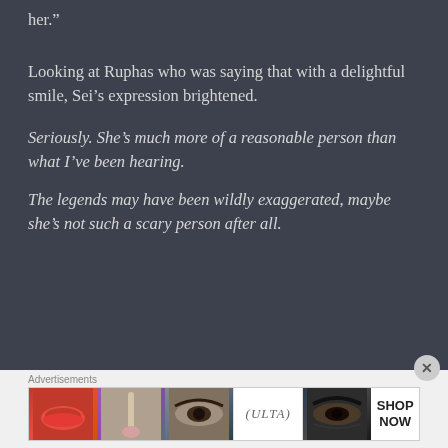her.”
Looking at Ruphas who was saying that with a delightful smile, Sei’s expression brightened.
Seriously. She’s much more of a reasonable person than what I’ve been hearing.
The legends may have been wildly exaggerated, maybe she’s not such a scary person after all.
[Figure (photo): ULTA Beauty advertisement banner with close-up beauty images including lips, makeup brush, eye, ULTA logo, and eye makeup, with SHOP NOW call to action]